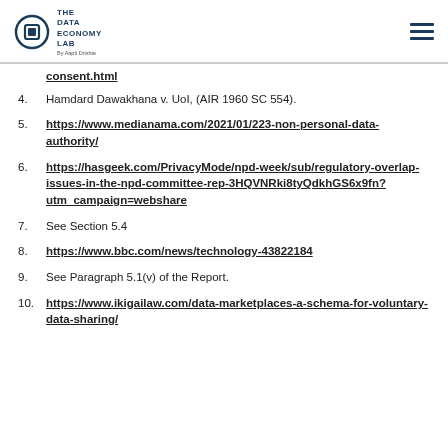The Data Economy Lab — By Aapti Drishte
consent.html (link, continuation from previous item)
4. Hamdard Dawakhana v. UoI, (AIR 1960 SC 554).
5. https://www.medianama.com/2021/01/223-non-personal-data-authority/
6. https://hasgeek.com/PrivacyMode/npd-week/sub/regulatory-overlap-issues-in-the-npd-committee-rep-3HQVNRki8tyQdkhGS6x9fn?utm_campaign=webshare
7. See Section 5.4
8. https://www.bbc.com/news/technology-43822184
9. See Paragraph 5.1(v) of the Report.
10. https://www.ikigailaw.com/data-marketplaces-a-schema-for-voluntary-data-sharing/